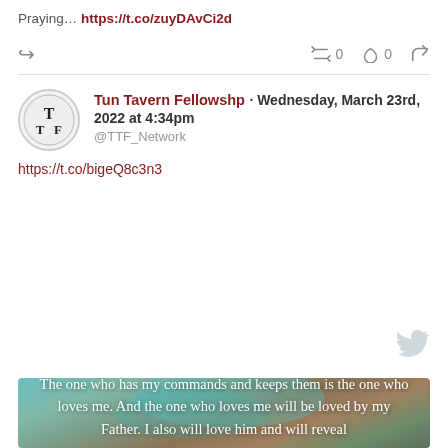Praying... https://t.co/zuyDAvCi2d
[Figure (screenshot): Twitter action bar with reply, retweet (0), like (0), and share icons]
[Figure (logo): Tun Tavern Fellowship circular avatar with TTF letters in serif font]
Tun Tavern Fellowshp · Wednesday, March 23rd, 2022 at 4:34pm
@TTF_Network
https://t.co/bigeQ8c3n3
[Figure (photo): An atmospheric image with teal/green fog and nature background. Overlaid white serif text reads: The one who has my commands and keeps them is the one who loves me. And the one who loves me will be loved by my Father. I also will love him and will reveal]